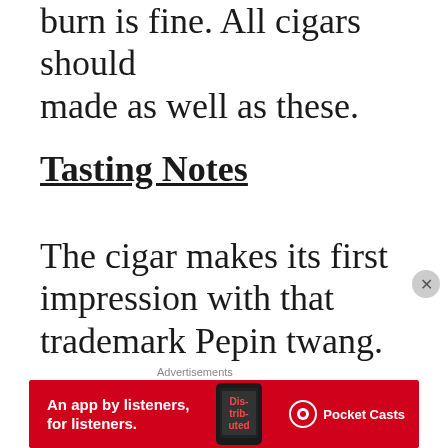burn is fine. All cigars should made as well as these.
Tasting Notes
The cigar makes its first impression with that trademark Pepin twang. I'd like to think that I could identify this flavor and aroma anywhere. because this Corojo
[Figure (other): Advertisement banner for Pocket Casts app with red background, text 'An app by listeners, for listeners.' and Pocket Casts logo]
Advertisements